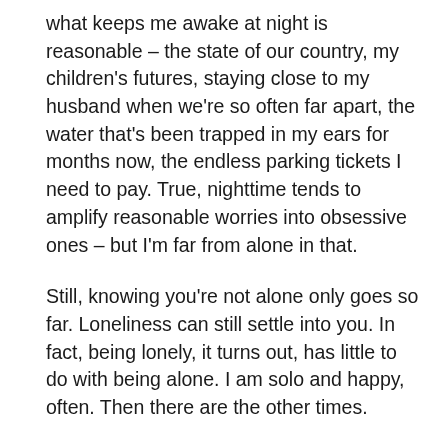what keeps me awake at night is reasonable – the state of our country, my children's futures, staying close to my husband when we're so often far apart, the water that's been trapped in my ears for months now, the endless parking tickets I need to pay. True, nighttime tends to amplify reasonable worries into obsessive ones – but I'm far from alone in that.
Still, knowing you're not alone only goes so far. Loneliness can still settle into you. In fact, being lonely, it turns out, has little to do with being alone. I am solo and happy, often. Then there are the other times.
For example, after three confidence-boosting days of good surf at a home break, I paddled out at a less familiar place near where a work trip had landed me.